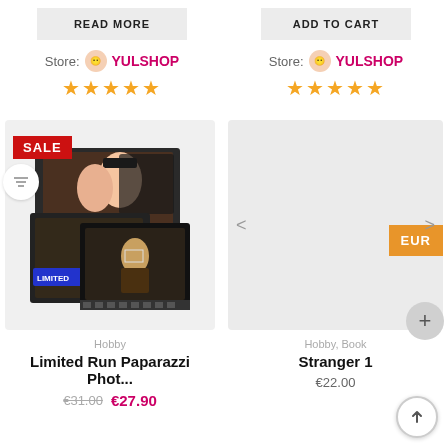READ MORE
Store: YULSHOP
★★★★★
ADD TO CART
Store: YULSHOP
★★★★★
[Figure (photo): Product card for Limited Run Paparazzi Photos with SALE badge and LIMITED label on stacked manga/anime artwork images]
SALE
[Figure (photo): Empty product card placeholder with EUR badge and left/right navigation arrows]
EUR
Hobby
Limited Run Paparazzi Phot...
€31.00 €27.90
Hobby, Book
Stranger 1
€22.00